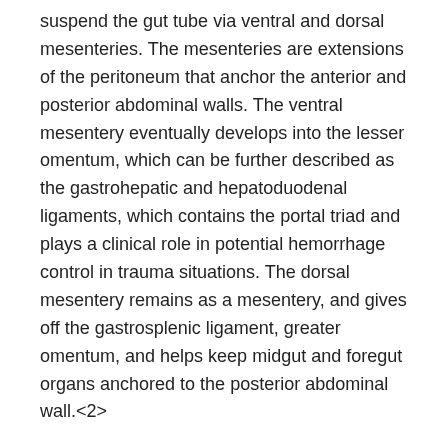suspend the gut tube via ventral and dorsal mesenteries. The mesenteries are extensions of the peritoneum that anchor the anterior and posterior abdominal walls. The ventral mesentery eventually develops into the lesser omentum, which can be further described as the gastrohepatic and hepatoduodenal ligaments, which contains the portal triad and plays a clinical role in potential hemorrhage control in trauma situations. The dorsal mesentery remains as a mesentery, and gives off the gastrosplenic ligament, greater omentum, and helps keep midgut and foregut organs anchored to the posterior abdominal wall.<2>
Blood Supply and Lymphatics
The parietal peritoneum receives blood from the abdominal wall vasculature, including the iliac, lumbar, epigastric, and intercostal arteries. The